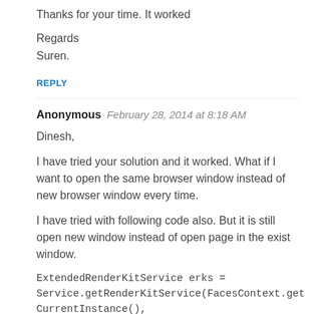Thanks for your time. It worked
Regards
Suren.
REPLY
Anonymous  February 28, 2014 at 8:18 AM
Dinesh,
I have tried your solution and it worked. What if I want to open the same browser window instead of new browser window every time.
I have tried with following code also. But it is still open new window instead of open page in the exist window.
ExtendedRenderKitService erks =
Service.getRenderKitService(FacesContext.get
CurrentInstance(),
ExtendedRenderKitService.class);
StringBuilder script = new StringBuilder();